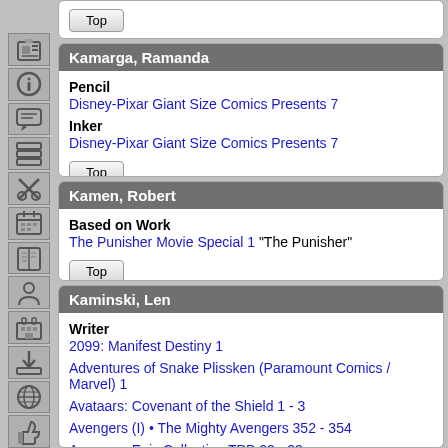Kamarga, Ramanda
Pencil
Disney-Pixar Giant Size Comics Presents 7
Inker
Disney-Pixar Giant Size Comics Presents 7
Kamen, Robert
Based on Work
The Punisher Movie Special 1 "The Punisher"
Kaminski, Len
Writer
2099: Manifest Destiny 1
Adventures of Snake Plissken (Paramount Comics / Marvel) 1
Avataars: Covenant of the Shield 1 - 3
Avengers (I) • The Mighty Avengers 352 - 354
Avengers Epic Collection TPB 22 - 23